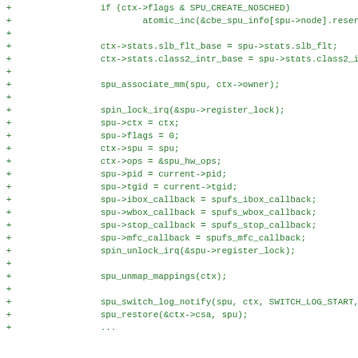Code diff snippet showing SPU context scheduling and register lock operations in C
+ 		if (ctx->flags & SPU_CREATE_NOSCHED)
+ 				atomic_inc(&cbe_spu_info[spu->node].reserved_
+
+ 		ctx->stats.slb_flt_base = spu->stats.slb_flt;
+ 		ctx->stats.class2_intr_base = spu->stats.class2_intr;
+
+ 		spu_associate_mm(spu, ctx->owner);
+
+ 		spin_lock_irq(&spu->register_lock);
+ 		spu->ctx = ctx;
+ 		spu->flags = 0;
+ 		ctx->spu = spu;
+ 		ctx->ops = &spu_hw_ops;
+ 		spu->pid = current->pid;
+ 		spu->tgid = current->tgid;
+ 		spu->ibox_callback = spufs_ibox_callback;
+ 		spu->wbox_callback = spufs_wbox_callback;
+ 		spu->stop_callback = spufs_stop_callback;
+ 		spu->mfc_callback = spufs_mfc_callback;
+ 		spin_unlock_irq(&spu->register_lock);
+
+ 		spu_unmap_mappings(ctx);
+
+ 		spu_switch_log_notify(spu, ctx, SWITCH_LOG_START, 0);
+ 		spu_restore(&ctx->csa, spu);
+ 		...